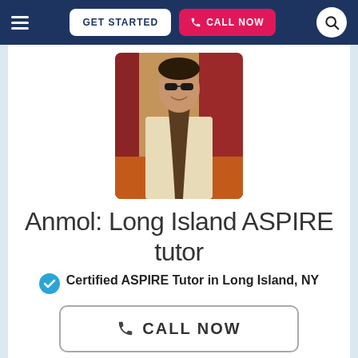≡  GET STARTED  📞 CALL NOW  🔍
[Figure (photo): A young man wearing a cream-colored sherwani with a brown scarf/dupatta, smiling, standing in front of orange furniture and red curtains.]
Anmol: Long Island ASPIRE tutor
Certified ASPIRE Tutor in Long Island, NY
📞 CALL NOW